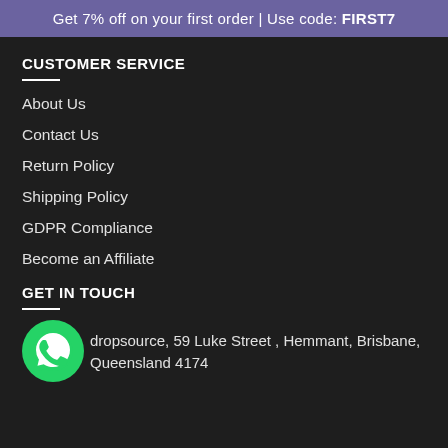Get 7% off on your first order | Use code: FIRST7
CUSTOMER SERVICE
About Us
Contact Us
Return Policy
Shipping Policy
GDPR Compliance
Become an Affiliate
GET IN TOUCH
dropsource, 59 Luke Street , Hemmant, Brisbane, Queensland 4174